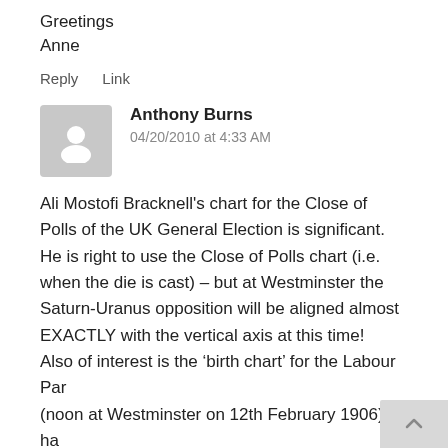Greetings
Anne
Reply    Link
Anthony Burns
04/20/2010 at 4:33 AM
Ali Mostofi Bracknell’s chart for the Close of Polls of the UK General Election is significant. He is right to use the Close of Polls chart (i.e. when the die is cast) – but at Westminster the Saturn-Uranus opposition will be aligned almost EXACTLY with the vertical axis at this time! Also of interest is the ‘birth chart’ for the Labour Par (noon at Westminster on 12th February 1906). It ha